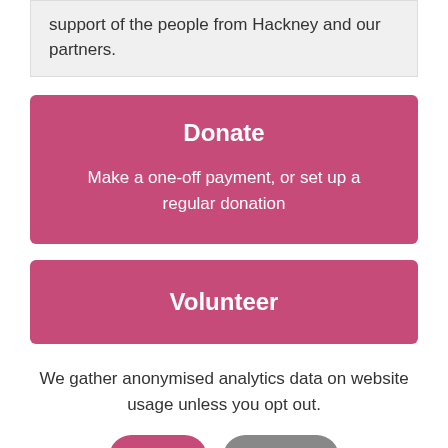support of the people from Hackney and our partners.
Donate
Make a one-off payment, or set up a regular donation
Volunteer
We gather anonymised analytics data on website usage unless you opt out.